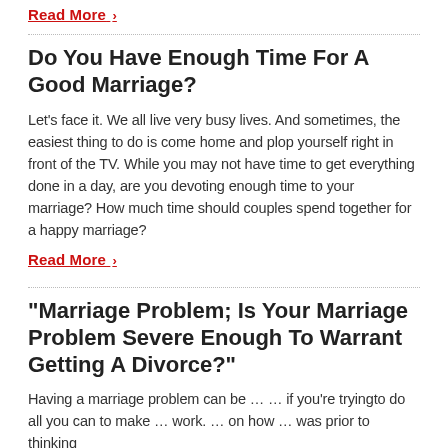Read More ›
Do You Have Enough Time For A Good Marriage?
Let's face it. We all live very busy lives. And sometimes, the easiest thing to do is come home and plop yourself right in front of the TV. While you may not have time to get everything done in a day, are you devoting enough time to your marriage? How much time should couples spend together for a happy marriage?
Read More ›
"Marriage Problem; Is Your Marriage Problem Severe Enough To Warrant Getting A Divorce?"
Having a marriage problem can be … … if you're tryingto do all you can to make … work. … on how … was prior to thinking